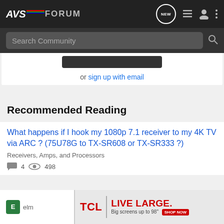AVS FORUM — navigation bar with logo, NEW button, list icon, user icon, menu icon
Search Community
or sign up with email
Recommended Reading
What happens if I hook my 1080p 7.1 receiver to my 4K TV via ARC ? (75U78G to TX-SR608 or TX-SR333 ?)
Receivers, Amps, and Processors
4  [views] 498
E  elm [truncated]
[Figure (screenshot): TCL advertisement banner: TCL logo in red, vertical divider, LIVE LARGE. text in red, Big screens up to 98" subtext, SHOP NOW button]